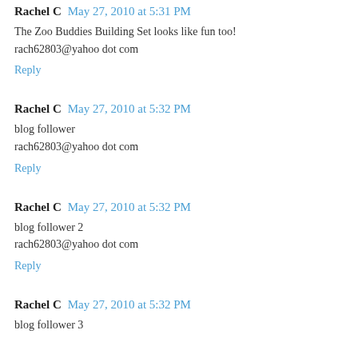Rachel C  May 27, 2010 at 5:31 PM
The Zoo Buddies Building Set looks like fun too!
rach62803@yahoo dot com
Reply
Rachel C  May 27, 2010 at 5:32 PM
blog follower
rach62803@yahoo dot com
Reply
Rachel C  May 27, 2010 at 5:32 PM
blog follower 2
rach62803@yahoo dot com
Reply
Rachel C  May 27, 2010 at 5:32 PM
blog follower 3